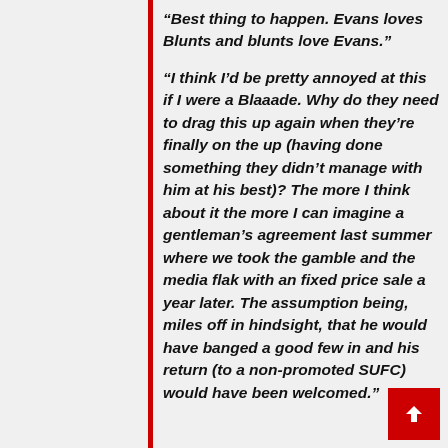“Best thing to happen. Evans loves Blunts and blunts love Evans.”
“I think I’d be pretty annoyed at this if I were a Blaaade. Why do they need to drag this up again when they’re finally on the up (having done something they didn’t manage with him at his best)? The more I think about it the more I can imagine a gentleman’s agreement last summer where we took the gamble and the media flak with an fixed price sale a year later. The assumption being, miles off in hindsight, that he would have banged a good few in and his return (to a non-promoted SUFC) would have been welcomed.”